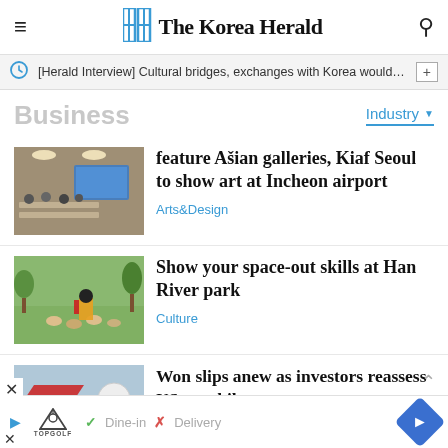The Korea Herald
[Herald Interview] Cultural bridges, exchanges with Korea would…
Business
Industry ▾
[Figure (photo): People seated at tables in a conference/meeting room with a blue screen projection]
feature Asian galleries, Kiaf Seoul to show art at Incheon airport
Arts&Design
[Figure (photo): Outdoor crowd scene with people in colorful costumes at a park]
Show your space-out skills at Han River park
Culture
[Figure (photo): Partially visible advertisement/thumbnail with blue background]
Won slips anew as investors reassess US rate hike
[Figure (infographic): TopGolf advertisement bar: Dine-in, Delivery options]